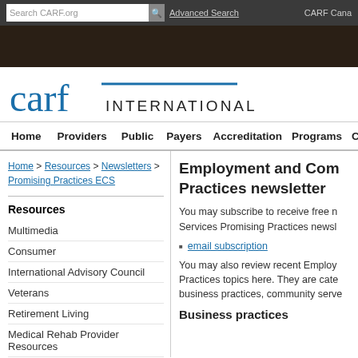Search CARF.org | Advanced Search | CARF Canada
[Figure (logo): CARF International logo with blue text and horizontal line]
Home | Providers | Public | Payers | Accreditation | Programs | Ce...
Home > Resources > Newsletters > Promising Practices ECS
Employment and Com... Practices newsletter
Resources
Multimedia
Consumer
International Advisory Council
Veterans
Retirement Living
Medical Rehab Provider Resources
You may subscribe to receive free n... Services Promising Practices newsl...
email subscription
You may also review recent Employ... Practices topics here. They are cate... business practices, community serve...
Business practices